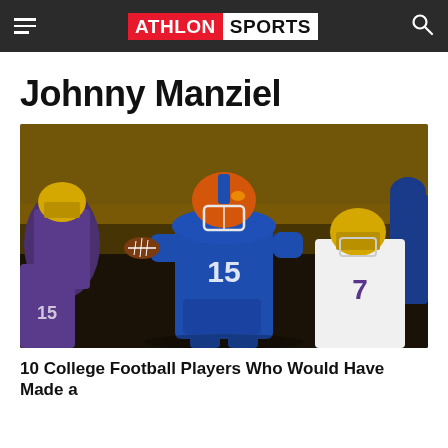ATHLON SPORTS
Johnny Manziel
[Figure (photo): Football player wearing blue Florida Gators uniform with number 15 and orange helmet, running with the ball. Opposing LSU players in purple and gold uniforms visible.]
10 College Football Players Who Would Have Made a